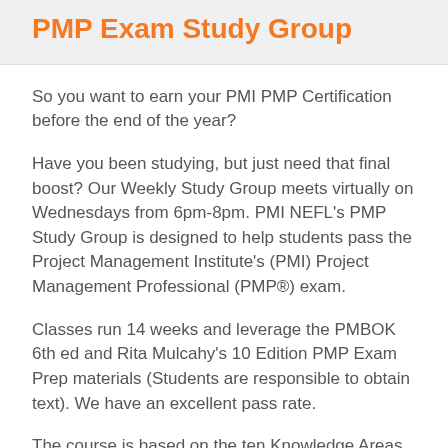PMP Exam Study Group
So you want to earn your PMI PMP Certification before the end of the year?
Have you been studying, but just need that final boost? Our Weekly Study Group meets virtually on Wednesdays from 6pm-8pm. PMI NEFL's PMP Study Group is designed to help students pass the Project Management Institute's (PMI) Project Management Professional (PMP®) exam.
Classes run 14 weeks and leverage the PMBOK 6th ed and Rita Mulcahy's 10 Edition PMP Exam Prep materials (Students are responsible to obtain text). We have an excellent pass rate.
The course is based on the ten Knowledge Areas and